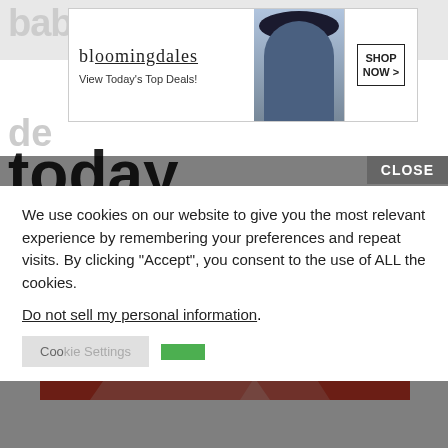baby names (relative de...today
[Figure (advertisement): Bloomingdales banner ad with fashion model wearing hat, 'View Today's Top Deals!' text and 'SHOP NOW >' button]
[Figure (infographic): Red background graphic with lighter red/white triangle shapes suggesting a bar or area chart]
We use cookies on our website to give you the most relevant experience by remembering your preferences and repeat visits. By clicking “Accept”, you consent to the use of ALL the cookies.
Do not sell my personal information.
[Figure (advertisement): Seamless food delivery ad with pizza image, seamless logo in red box, and ORDER NOW button]